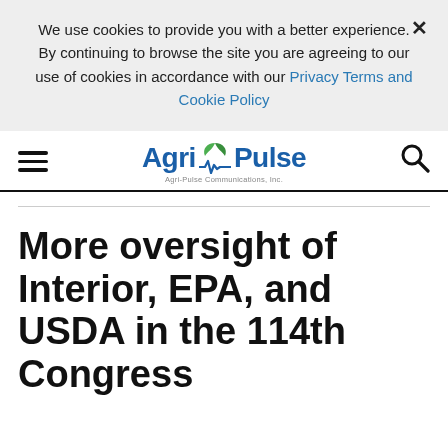We use cookies to provide you with a better experience. × By continuing to browse the site you are agreeing to our use of cookies in accordance with our Privacy Terms and Cookie Policy
[Figure (logo): AgriPulse logo with leaf and pulse line graphic, navigation hamburger menu and search icon]
More oversight of Interior, EPA, and USDA in the 114th Congress